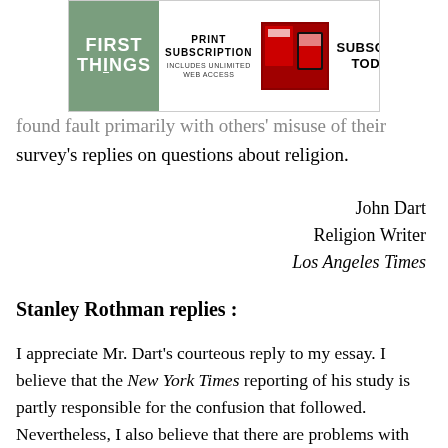[Figure (other): First Things magazine advertisement banner showing 'FIRST THINGS' logo in green box, 'PRINT SUBSCRIPTION INCLUDES UNLIMITED WEB ACCESS' text, magazine/device images, and 'SUBSCRIBE TODAY!' call to action]
found fault primarily with others' misuse of their survey's replies on questions about religion.
John Dart
Religion Writer
Los Angeles Times
Stanley Rothman replies :
I appreciate Mr. Dart's courteous reply to my essay. I believe that the New York Times reporting of his study is partly responsible for the confusion that followed. Nevertheless, I also believe that there are problems with both his study and the introduction by John